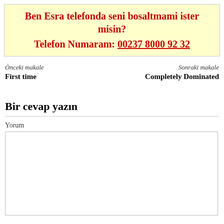Ben Esra telefonda seni bosaltmami ister misin?
Telefon Numaram: 00237 8000 92 32
Önceki makale
First time
Sonraki makale
Completely Dominated
Bir cevap yazın
Yorum